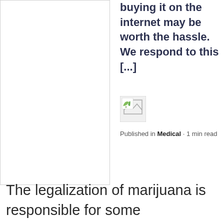buying it on the internet may be worth the hassle. We respond to this [...]
[Figure (photo): Small thumbnail image of an author avatar with a broken/placeholder image icon]
Published in Medical · 1 min read
The legalization of marijuana is responsible for some